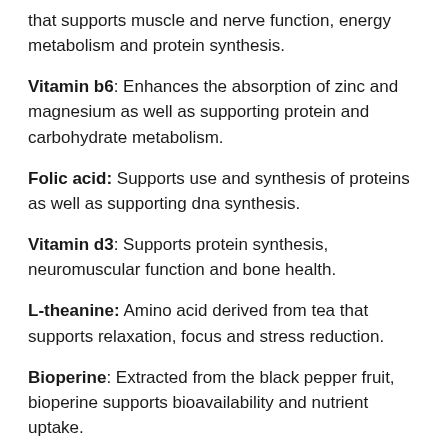that supports muscle and nerve function, energy metabolism and protein synthesis.
Vitamin b6: Enhances the absorption of zinc and magnesium as well as supporting protein and carbohydrate metabolism.
Folic acid: Supports use and synthesis of proteins as well as supporting dna synthesis.
Vitamin d3: Supports protein synthesis, neuromuscular function and bone health.
L-theanine: Amino acid derived from tea that supports relaxation, focus and stress reduction.
Bioperine: Extracted from the black pepper fruit, bioperine supports bioavailability and nutrient uptake.
Directions Of Use
As a dietary supplement take 4 capsules on an empty